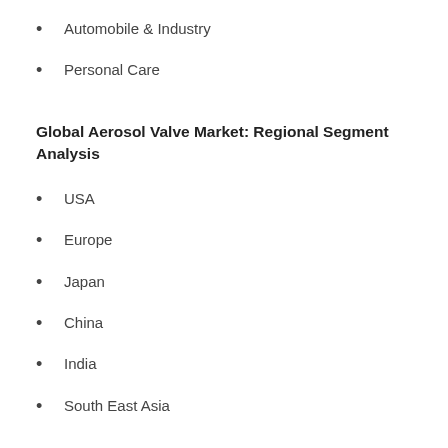Automobile & Industry
Personal Care
Global Aerosol Valve Market: Regional Segment Analysis
USA
Europe
Japan
China
India
South East Asia